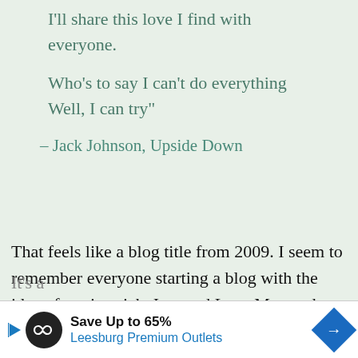I'll share this love I find with everyone.
Who's to say I can't do everything Well, I can try"
– Jack Johnson, Upside Down
That feels like a blog title from 2009. I seem to remember everyone starting a blog with the idea of getting rich. I started Lazy Man and Money in 2006 and didn't know you could make money with a blog.
It's a...
[Figure (other): Advertisement banner for Leesburg Premium Outlets with play button, infinity logo, and navigation arrow. Text reads: Save Up to 65%, Leesburg Premium Outlets]